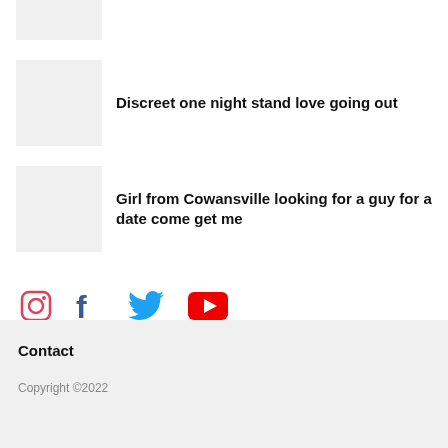[Figure (photo): Thumbnail image placeholder (top, partially visible)]
Discreet one night stand love going out
[Figure (photo): Thumbnail image placeholder for second card]
Girl from Cowansville looking for a guy for a date come get me
[Figure (infographic): Social media icons: Instagram, Facebook, Twitter, YouTube]
Contact
Copyright ©2022